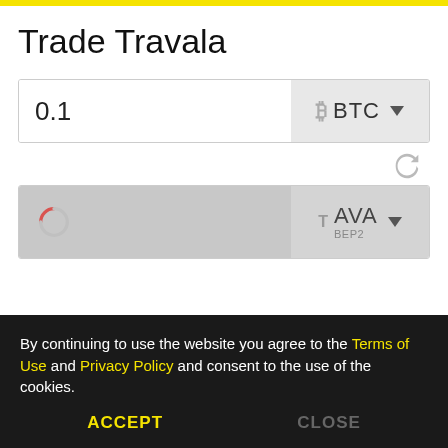Trade Travala
[Figure (screenshot): Input field showing '0.1' with BTC currency selector dropdown on the right]
[Figure (screenshot): Refresh/swap icon button between the two currency input rows]
[Figure (screenshot): Output field with loading spinner and AVA BEP2 currency selector dropdown on the right]
By continuing to use the website you agree to the Terms of Use and Privacy Policy and consent to the use of the cookies.
ACCEPT    CLOSE